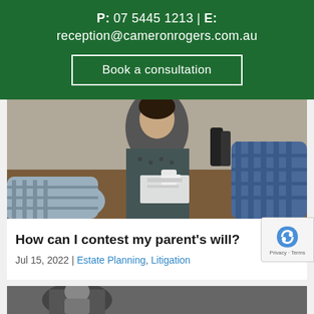P: 07 5445 1213 | E: reception@cameronrogers.com.au
Book a consultation
[Figure (photo): People sitting around a table reviewing documents, consultation meeting scene]
How can I contest my parent's will?
Jul 15, 2022 | Estate Planning, Litigation
[Figure (photo): Partial bottom photo, dark background with figures]